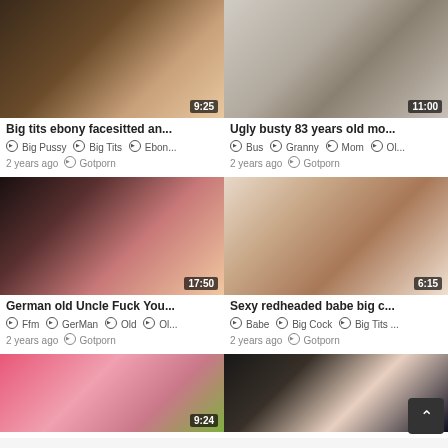[Figure (photo): Thumbnail of adult video: Big tits ebony facesitted an... Duration shown: 9:25]
Big tits ebony facesitted an...
Big Pussy  Big Tits  Ebon...
2 years ago  Gotporn
[Figure (photo): Thumbnail of adult video: Ugly busty 83 years old mo... Duration shown: 11:00]
Ugly busty 83 years old mo...
Bus  Granny  Mom  Ol...
2 years ago  Gotporn
[Figure (photo): Thumbnail of adult video: German old Uncle Fuck You... Duration shown: 17:50]
German old Uncle Fuck You...
Ffm  GerMan  Old  Ol...
2 years ago  Gotporn
[Figure (photo): Thumbnail of adult video: Sexy redheaded babe big c... Duration shown: 6:15]
Sexy redheaded babe big c...
Babe  Big Cock  Big Tits ...
2 years ago  Gotporn
[Figure (photo): Thumbnail of adult video partial, Duration shown: 9:24]
[Figure (photo): Thumbnail of adult video partial, Duration shown: 6:44]